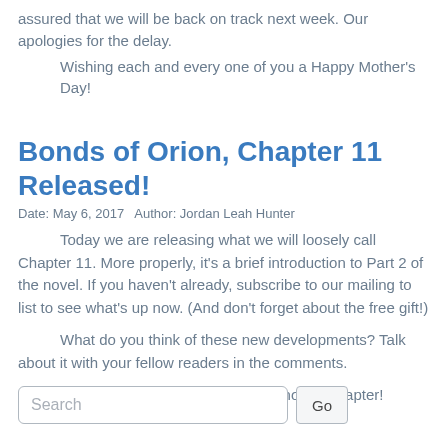assured that we will be back on track next week. Our apologies for the delay.
Wishing each and every one of you a Happy Mother’s Day!
Bonds of Orion, Chapter 11 Released!
Date: May 6, 2017   Author: Jordan Leah Hunter
Today we are releasing what we will loosely call Chapter 11. More properly, it’s a brief introduction to Part 2 of the novel. If you haven’t already, subscribe to our mailing to list to see what’s up now. (And don’t forget about the free gift!)
What do you think of these new developments? Talk about it with your fellow readers in the comments.
We’ll be back next weekend with another chapter!